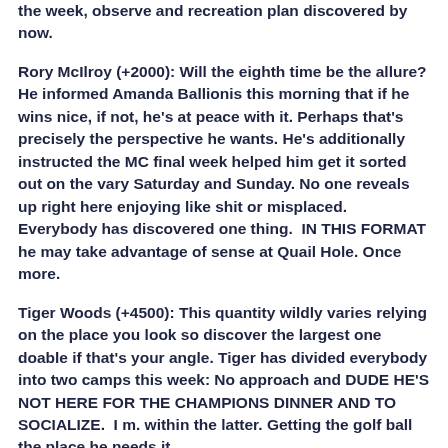the week, observe and recreation plan discovered by now.
Rory McIlroy (+2000): Will the eighth time be the allure? He informed Amanda Ballionis this morning that if he wins nice, if not, he's at peace with it. Perhaps that's precisely the perspective he wants. He's additionally instructed the MC final week helped him get it sorted out on the vary Saturday and Sunday. No one reveals up right here enjoying like shit or misplaced. Everybody has discovered one thing.  IN THIS FORMAT he may take advantage of sense at Quail Hole. Once more.
Tiger Woods (+4500): This quantity wildly varies relying on the place you look so discover the largest one doable if that's your angle. Tiger has divided everybody into two camps this week: No approach and DUDE HE'S NOT HERE FOR THE CHAMPIONS DINNER AND TO SOCIALIZE.  I m. within the latter. Getting the golf ball the place he needs it